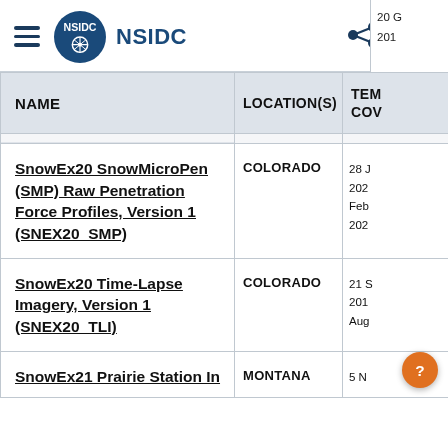NSIDC
| NAME | LOCATION(S) | TE... CO... |
| --- | --- | --- |
| SnowEx20 SnowMicroPen (SMP) Raw Penetration Force Profiles, Version 1 (SNEX20_SMP) | COLORADO | 28 J... 202... Feb... 202... |
| SnowEx20 Time-Lapse Imagery, Version 1 (SNEX20_TLI) | COLORADO | 21 S... 201... Aug... |
| SnowEx21 Prairie Station In... | MONTANA | 5 N... |